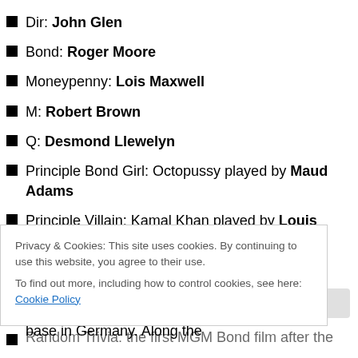Dir: John Glen
Bond: Roger Moore
Moneypenny: Lois Maxwell
M: Robert Brown
Q: Desmond Llewelyn
Principle Bond Girl: Octopussy played by Maud Adams
Principle Villain: Kamal Khan played by Louis Jourdan
Basic Plot: A convoluted plot that starts with the murder of 009 and leads to an attempt to detonated a nuclear bomb on an American air base in Germany. Along the
Privacy & Cookies: This site uses cookies. By continuing to use this website, you agree to their use.
To find out more, including how to control cookies, see here: Cookie Policy
Random Trivia: the first MGM Bond film after the